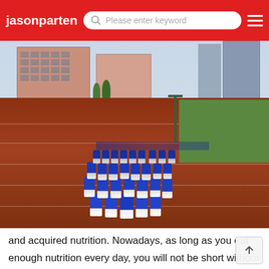jasonparten — search bar with placeholder 'Please enter keyword' — menu icon
[Figure (photo): Students in blue and white jackets running on a red athletic track at a school. Buildings visible in the background including pink residential buildings and modern high-rises. A green sports field is visible in the upper right.]
and acquired nutrition. Nowadays, as long as you eat enough nutrition every day, you will not be short without genetic defects. Playing football and running are not directly related to being tallFootball players can run on the field for 90